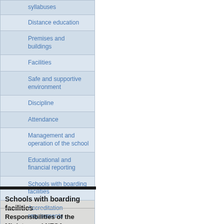syllabuses
Distance education
Premises and buildings
Facilities
Safe and supportive environment
Discipline
Attendance
Management and operation of the school
Educational and financial reporting
Schools with boarding facilities
Accreditation requirements
Provisional accreditation for member schools
Schools with boarding facilities
Responsibilities of the Minister and NESA